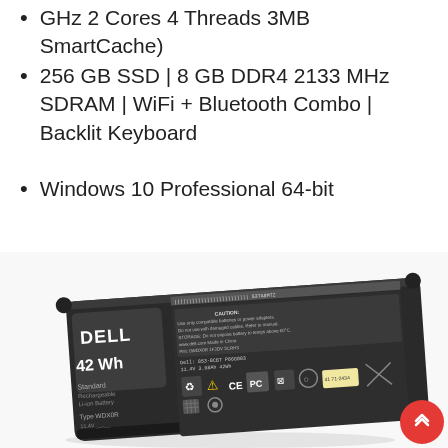GHz 2 Cores 4 Threads 3MB SmartCache)
256 GB SSD | 8 GB DDR4 2133 MHz SDRAM | WiFi + Bluetooth Combo | Backlit Keyboard
Windows 10 Professional 64-bit
[Figure (photo): Dell 42Wh Standard laptop battery (Type WDX0R) shown at an angle with regulatory labels and safety symbols visible on the front face.]